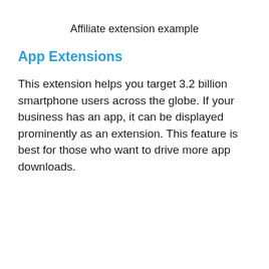Affiliate extension example
App Extensions
This extension helps you target 3.2 billion smartphone users across the globe. If your business has an app, it can be displayed prominently as an extension. This feature is best for those who want to drive more app downloads.